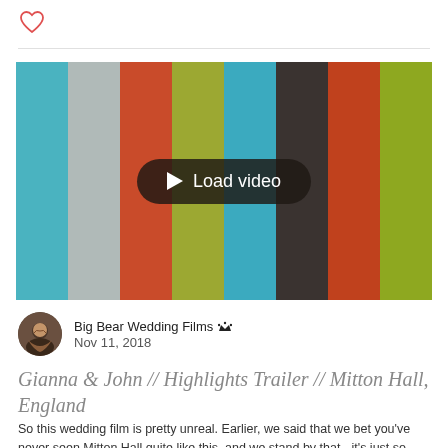[Figure (other): Heart/like icon outline in red at top left]
[Figure (screenshot): Video thumbnail placeholder showing colored vertical stripes (teal, light gray, red-orange, olive green, teal, dark gray, red-orange, olive green) with a dark rounded 'Load video' button with play arrow in the center]
Big Bear Wedding Films ♛
Nov 11, 2018
Gianna & John // Highlights Trailer // Mitton Hall, England
So this wedding film is pretty unreal. Earlier, we said that we bet you've never seen Mitton Hall quite like this, and we stand by that - it's just so stunning. Who